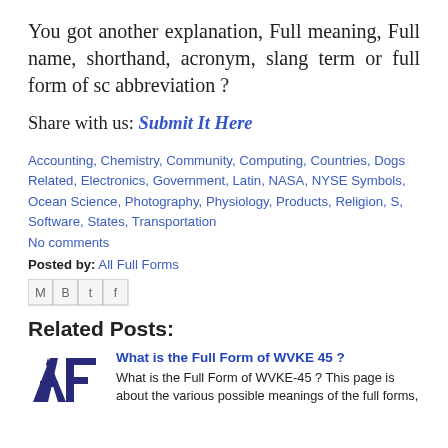You got another explanation, Full meaning, Full name, shorthand, acronym, slang term or full form of sc abbreviation ?
Share with us: Submit It Here
Accounting, Chemistry, Community, Computing, Countries, Dogs Related, Electronics, Government, Latin, NASA, NYSE Symbols, Ocean Science, Photography, Physiology, Products, Religion, S, Software, States, Transportation
No comments
Posted by: All Full Forms
[Figure (other): Social sharing icons: email (M), blogger (B), twitter (t), facebook (f)]
Related Posts:
[Figure (logo): All Full Forms logo - stylized AF letters in dark blue/purple]
What is the Full Form of WVKE 45 ?
What is the Full Form of WVKE-45 ? This page is about the various possible meanings of the full forms,